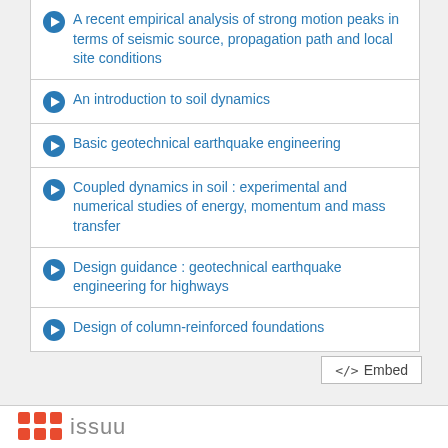A recent empirical analysis of strong motion peaks in terms of seismic source, propagation path and local site conditions
An introduction to soil dynamics
Basic geotechnical earthquake engineering
Coupled dynamics in soil : experimental and numerical studies of energy, momentum and mass transfer
Design guidance : geotechnical earthquake engineering for highways
Design of column-reinforced foundations
[Figure (logo): Issuu logo with orange dot grid and grey text]
</> Embed